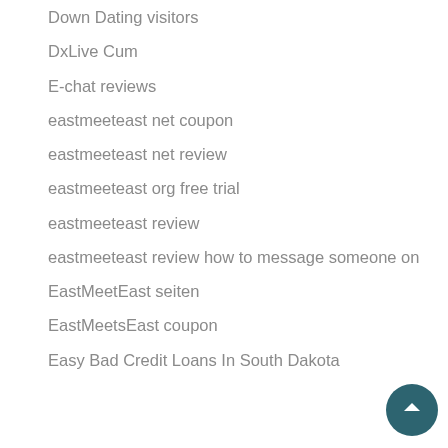Down Dating visitors
DxLive Cum
E-chat reviews
eastmeeteast net coupon
eastmeeteast net review
eastmeeteast org free trial
eastmeeteast review
eastmeeteast review how to message someone on
EastMeetEast seiten
EastMeetsEast coupon
Easy Bad Credit Loans In South Dakota